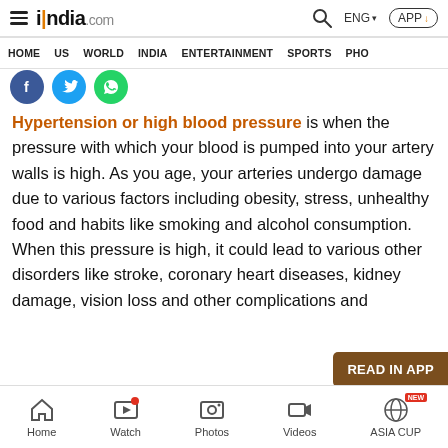india.com — ENG — APP — HOME US WORLD INDIA ENTERTAINMENT SPORTS PHO
[Figure (screenshot): Social share icons: Facebook (blue circle), Twitter (light blue circle), WhatsApp (green circle)]
Hypertension or high blood pressure is when the pressure with which your blood is pumped into your artery walls is high. As you age, your arteries undergo damage due to various factors including obesity, stress, unhealthy food and habits like smoking and alcohol consumption. When this pressure is high, it could lead to various other disorders like stroke, coronary heart diseases, kidney damage, vision loss and other complications and
Home | Watch | Photos | Videos | ASIA CUP